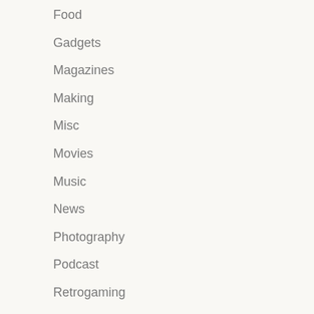Food
Gadgets
Magazines
Making
Misc
Movies
Music
News
Photography
Podcast
Retrogaming
Sport
The League
Time Travel